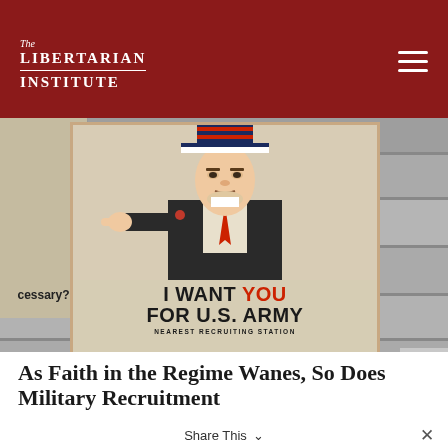The Libertarian Institute
[Figure (photo): Photograph of war recruitment posters on a wooden plank wall, including the iconic 'I WANT YOU FOR U.S. ARMY NEAREST RECRUITING STATION' Uncle Sam poster and a partial second poster showing 'ecessary?']
As Faith in the Regime Wanes, So Does Military Recruitment